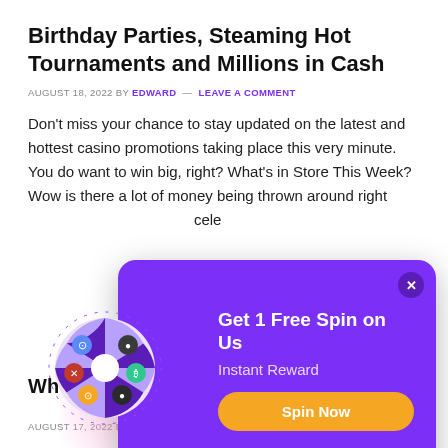Birthday Parties, Steaming Hot Tournaments and Millions in Cash
AUGUST 18, 2022 BY EDWARD — LEAVE A COMMENT
Don't miss your chance to stay updated on the latest and hottest casino promotions taking place this very minute. You do want to win big, right? What's in Store This Week? Wow is there a lot of money being thrown around right now! Casinos everywhere are celebrating…
[Figure (infographic): Purple popup modal with spinning wheel graphic on left, title 'Get 1 Free Spin on Us', subtitle 'Instant Reward', and orange 'Spin Now' button. Wheel has colored segments with icons.]
Wh…
AUGUST 17, 2022 BY EDWARD — LEAVE A COMMENT